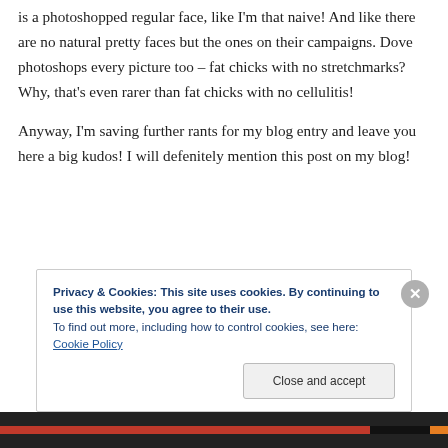is a photoshopped regular face, like I'm that naive! And like there are no natural pretty faces but the ones on their campaigns. Dove photoshops every picture too – fat chicks with no stretchmarks? Why, that's even rarer than fat chicks with no cellulitis!

Anyway, I'm saving further rants for my blog entry and leave you here a big kudos! I will defenitely mention this post on my blog!
Privacy & Cookies: This site uses cookies. By continuing to use this website, you agree to their use.
To find out more, including how to control cookies, see here: Cookie Policy